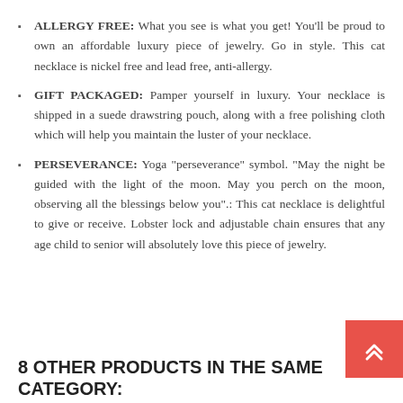ALLERGY FREE: What you see is what you get! You'll be proud to own an affordable luxury piece of jewelry. Go in style. This cat necklace is nickel free and lead free, anti-allergy.
GIFT PACKAGED: Pamper yourself in luxury. Your necklace is shipped in a suede drawstring pouch, along with a free polishing cloth which will help you maintain the luster of your necklace.
PERSEVERANCE: Yoga "perseverance" symbol. "May the night be guided with the light of the moon. May you perch on the moon, observing all the blessings below you".: This cat necklace is delightful to give or receive. Lobster lock and adjustable chain ensures that any age child to senior will absolutely love this piece of jewelry.
8 OTHER PRODUCTS IN THE SAME CATEGORY: